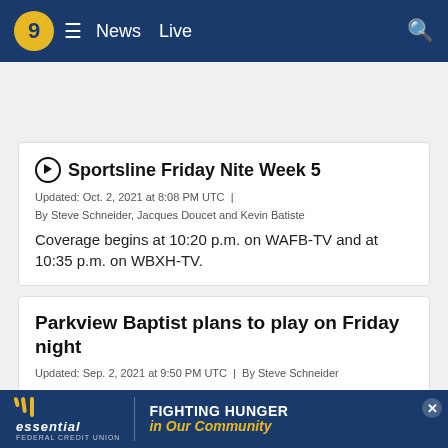9 ☰ News  Live  🔍
▶ Sportsline Friday Nite Week 5
Updated: Oct. 2, 2021 at 8:08 PM UTC  |
By Steve Schneider, Jacques Doucet and Kevin Batiste
Coverage begins at 10:20 p.m. on WAFB-TV and at 10:35 p.m. on WBXH-TV.
Parkview Baptist plans to play on Friday night
Updated: Sep. 2, 2021 at 9:50 PM UTC  |  By Steve Schneider
A source tells WAFB Parkview Baptist plans to play footba…
[Figure (infographic): essential FEDERAL CREDIT UNION banner ad — FIGHTING HUNGER in Our Community]